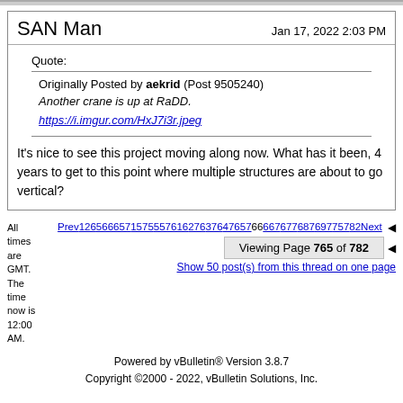SAN Man  Jan 17, 2022 2:03 PM
Quote:
Originally Posted by aekrid (Post 9505240)
Another crane is up at RaDD.
https://i.imgur.com/HxJ7i3r.jpeg
It's nice to see this project moving along now. What has it been, 4 years to get to this point where multiple structures are about to go vertical?
All times are GMT. The time now is 12:00 AM.
Prev1265666571575557616276376476576676776876977582Next
Viewing Page 765 of 782
Show 50 post(s) from this thread on one page
Powered by vBulletin® Version 3.8.7
Copyright ©2000 - 2022, vBulletin Solutions, Inc.